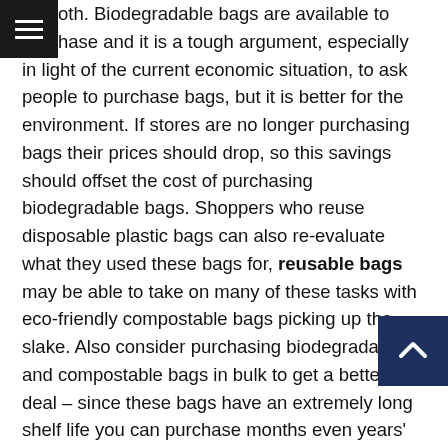hemoth. Biodegradable bags are available to purchase and it is a tough argument, especially in light of the current economic situation, to ask people to purchase bags, but it is better for the environment. If stores are no longer purchasing bags their prices should drop, so this savings should offset the cost of purchasing biodegradable bags. Shoppers who reuse disposable plastic bags can also re-evaluate what they used these bags for, reusable bags may be able to take on many of these tasks with eco-friendly compostable bags picking up the slake. Also consider purchasing biodegradable and compostable bags in bulk to get a better deal – since these bags have an extremely long shelf life you can purchase months even years' worth of bags to secure a good price.

The last argument posed by the American Progressive